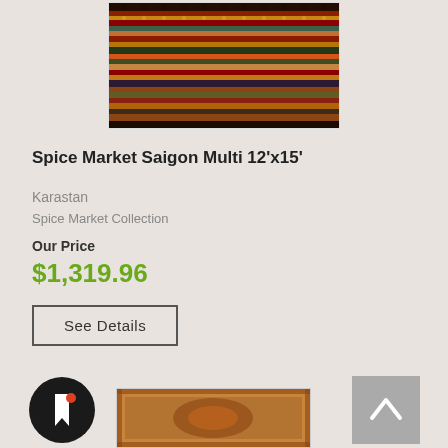[Figure (photo): Product photo of Spice Market Saigon Multi rug with colorful horizontal striped pattern in multi-color tones]
Spice Market Saigon Multi 12'x15'
Karastan
Spice Market Collection
Our Price
$1,319.96
See Details
[Figure (logo): Black circular icon with white bookmark/flag symbol]
[Figure (photo): Partial product photo of a second rug with ornate medallion pattern in rust/terra cotta tones]
[Figure (other): Scroll to top button with upward arrow]